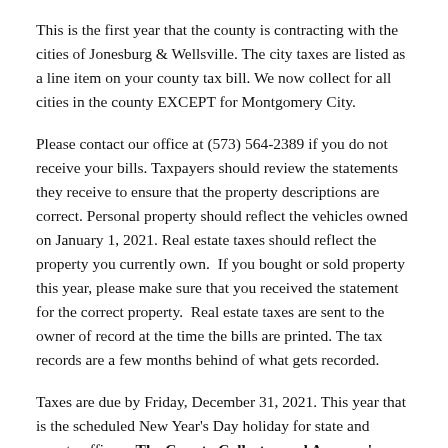This is the first year that the county is contracting with the cities of Jonesburg & Wellsville. The city taxes are listed as a line item on your county tax bill. We now collect for all cities in the county EXCEPT for Montgomery City.
Please contact our office at (573) 564-2389 if you do not receive your bills. Taxpayers should review the statements they receive to ensure that the property descriptions are correct. Personal property should reflect the vehicles owned on January 1, 2021. Real estate taxes should reflect the property you currently own.  If you bought or sold property this year, please make sure that you received the statement for the correct property.  Real estate taxes are sent to the owner of record at the time the bills are printed. The tax records are a few months behind of what gets recorded.
Taxes are due by Friday, December 31, 2021. This year that is the scheduled New Year's Day holiday for state and county offices.  The County Collector and Assessor's Offices will